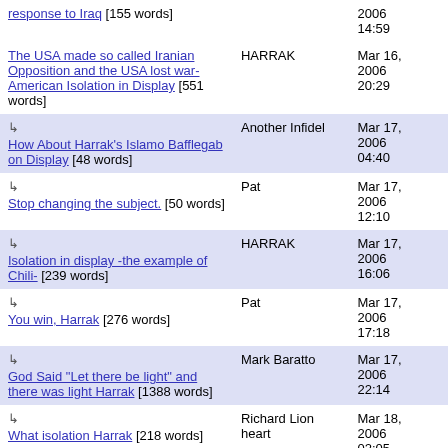| Title | Author | Date |
| --- | --- | --- |
| response to Iraq [155 words] |  | 2006 14:59 |
| The USA made so called Iranian Opposition and the USA lost war- American Isolation in Display [551 words] | HARRAK | Mar 16, 2006 20:29 |
| ↳ How About Harrak's Islamo Bafflegab on Display [48 words] | Another Infidel | Mar 17, 2006 04:40 |
| ↳ Stop changing the subject. [50 words] | Pat | Mar 17, 2006 12:10 |
| ↳ Isolation in display -the example of Chili- [239 words] | HARRAK | Mar 17, 2006 16:06 |
| ↳ You win, Harrak [276 words] | Pat | Mar 17, 2006 17:18 |
| ↳ God Said "Let there be light" and there was light Harrak [1388 words] | Mark Baratto | Mar 17, 2006 22:14 |
| ↳ What isolation Harrak [218 words] | Richard Lion heart | Mar 18, 2006 02:05 |
| ↳ ... | Mark | Mar 18, |